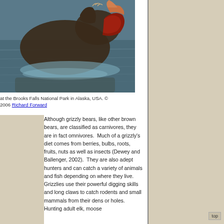[Figure (photo): A grizzly bear at Brooks Falls National Park in Alaska, USA, catching a salmon in water with its mouth open wide.]
at the Brooks Falls National Park in Alaska, USA. © 2006 Richard Forward
Although grizzly bears, like other brown bears, are classified as carnivores, they are in fact omnivores.  Much of a grizzly's diet comes from berries, bulbs, roots, fruits, nuts as well as insects (Dewey and Ballenger, 2002).  They are also adept hunters and can catch a variety of animals and fish depending on where they live.  Grizzlies use their powerful digging skills and long claws to catch rodents and small mammals from their dens or holes.  Hunting adult elk, moose
top